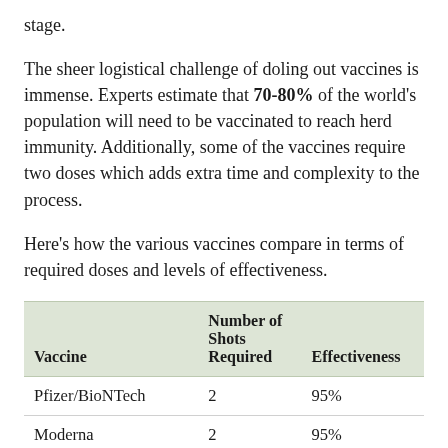stage.
The sheer logistical challenge of doling out vaccines is immense. Experts estimate that 70-80% of the world's population will need to be vaccinated to reach herd immunity. Additionally, some of the vaccines require two doses which adds extra time and complexity to the process.
Here's how the various vaccines compare in terms of required doses and levels of effectiveness.
| Vaccine | Number of Shots Required | Effectiveness |
| --- | --- | --- |
| Pfizer/BioNTech | 2 | 95% |
| Moderna | 2 | 95% |
| Oxford/AstraZeneca | 2 | 70% |